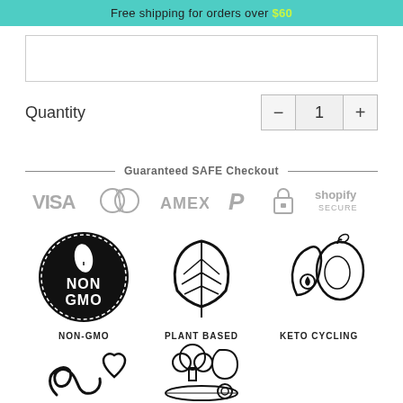Free shipping for orders over $60
Quantity
[Figure (infographic): Guaranteed SAFE Checkout banner with payment icons: VISA, Mastercard, AMEX, PayPal, and Shopify Secure]
[Figure (infographic): Three product certification badges: NON-GMO (black circle with dashed border and leaf icon), PLANT BASED (leaf icon), KETO CYCLING (avocado/fruit icon)]
NON-GMO
PLANT BASED
KETO CYCLING
[Figure (infographic): Two partially visible icons at bottom: gut/intestine with heart icon, and vegetables/nutrition icon]